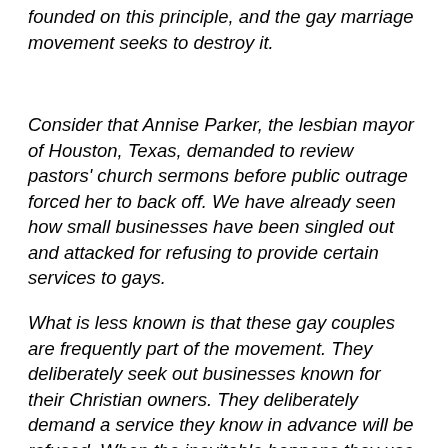founded on this principle, and the gay marriage movement seeks to destroy it.
Consider that Annise Parker, the lesbian mayor of Houston, Texas, demanded to review pastors' church sermons before public outrage forced her to back off. We have already seen how small businesses have been singled out and attacked for refusing to provide certain services to gays.
What is less known is that these gay couples are frequently part of the movement. They deliberately seek out businesses known for their Christian owners. They deliberately demand a service they know in advance will be refused. When the inevitable happens they use it as pretext to destroy the business and savage its owners. Doesn't it amaze you how quickly legal groups immediately materialize to assist in the attack? The fact that they got unexpected push back through a spontaneous crowd sourcing campaign to support one pizza shop will not discouade them from future efforts. If gay marriage is